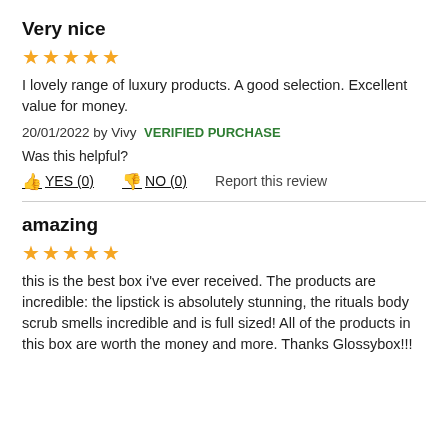Very nice
[Figure (other): 5 orange star rating icons]
I lovely range of luxury products. A good selection. Excellent value for money.
20/01/2022 by Vivy  VERIFIED PURCHASE
Was this helpful?
👍 YES (0)   👎 NO (0)   Report this review
amazing
[Figure (other): 5 orange star rating icons]
this is the best box i've ever received. The products are incredible: the lipstick is absolutely stunning, the rituals body scrub smells incredible and is full sized! All of the products in this box are worth the money and more. Thanks Glossybox!!!